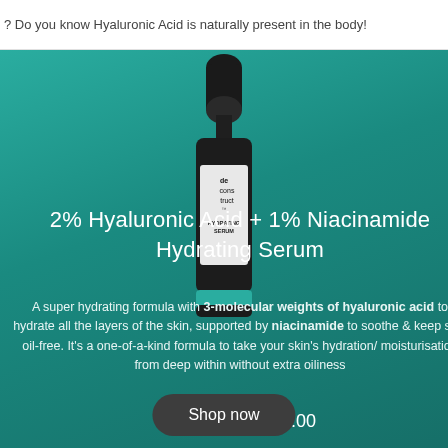? Do you know Hyaluronic Acid is naturally present in the body!
2% Hyaluronic Acid + 1% Niacinamide Hydrating Serum
[Figure (photo): Dark glass dropper bottle of Deconstruct Hydrating Serum on teal/green background]
A super hydrating formula with 3-molecular weights of hyaluronic acid to hydrate all the layers of the skin, supported by niacinamide to soothe & keep skin oil-free. It's a one-of-a-kind formula to take your skin's hydration/ moisturisation from deep within without extra oiliness
₹429.00 – ₹601.00
Shop now